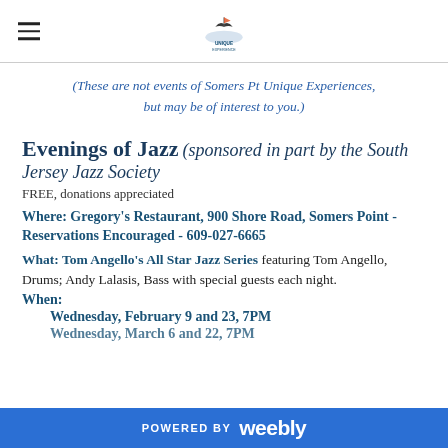Somers Pt Unique Experiences logo
(These are not events of Somers Pt Unique Experiences, but may be of interest to you.)
Evenings of Jazz (sponsored in part by the South Jersey Jazz Society
FREE, donations appreciated
Where: Gregory's Restaurant, 900 Shore Road, Somers Point - Reservations Encouraged - 609-027-6665
What: Tom Angello's All Star Jazz Series featuring Tom Angello, Drums; Andy Lalasis, Bass with special guests each night.
When:
Wednesday, February 9 and 23, 7PM
Wednesday, March 6 and 22, 7PM
POWERED BY weebly